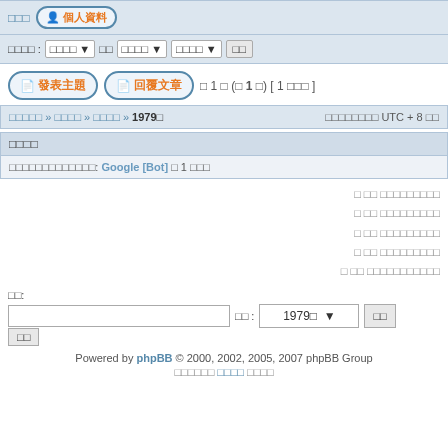□□□ 個人資料
□□□□ : □□□□ ▼ □□ □□□□ ▼ □□□□ ▼ □□
發表主題  回覆文章  □ 1 □ (□ 1 □)  [ 1 □□□ ]
□□□□□ » □□□□ » □□□□ » 1979□  □□□□□□□□ UTC + 8 □□
□□□□
□□□□□□□□□□□□□: Google [Bot] □ 1 □□□
□ □□ □□□□□□□□□
□ □□ □□□□□□□□□
□ □□ □□□□□□□□□
□ □□ □□□□□□□□□
□ □□ □□□□□□□□□□□
□□:
□□ : 1979□ ▼ □□
□□
Powered by phpBB © 2000, 2002, 2005, 2007 phpBB Group